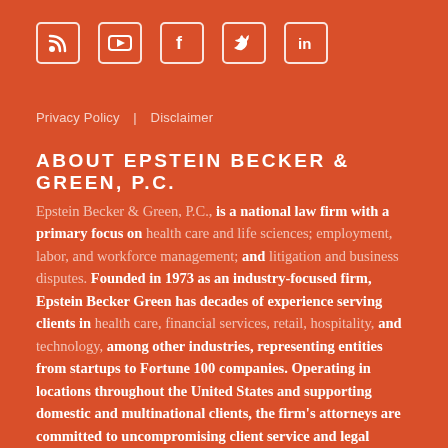[Figure (other): Row of social media icons: RSS feed, YouTube, Facebook, Twitter, LinkedIn — white outlined rounded square icons on orange background]
Privacy Policy | Disclaimer
ABOUT EPSTEIN BECKER & GREEN, P.C.
Epstein Becker & Green, P.C., is a national law firm with a primary focus on health care and life sciences; employment, labor, and workforce management; and litigation and business disputes. Founded in 1973 as an industry-focused firm, Epstein Becker Green has decades of experience serving clients in health care, financial services, retail, hospitality, and technology, among other industries, representing entities from startups to Fortune 100 companies. Operating in locations throughout the United States and supporting domestic and multinational clients, the firm's attorneys are committed to uncompromising client service and legal excellence. For more